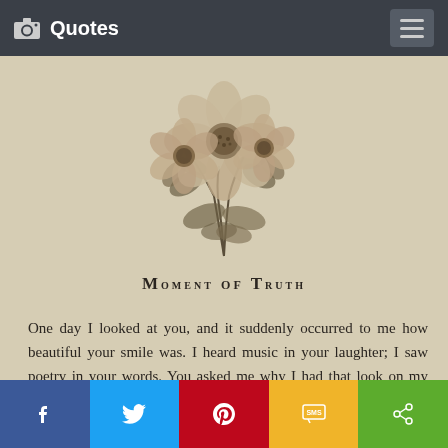Quotes
[Figure (illustration): Vintage botanical illustration of flowers with petals and leaves, hand-drawn style in sepia/grayscale on aged paper background]
Moment of Truth
One day I looked at you, and it suddenly occurred to me how beautiful your smile was. I heard music in your laughter; I saw poetry in your words. You asked me why I had that look on my face, as though a shadow had fallen across its
Facebook | Twitter | Pinterest | SMS | Share